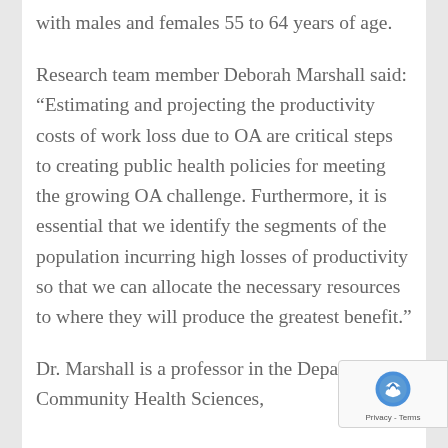with males and females 55 to 64 years of age.
Research team member Deborah Marshall said: “Estimating and projecting the productivity costs of work loss due to OA are critical steps to creating public health policies for meeting the growing OA challenge. Furthermore, it is essential that we identify the segments of the population incurring high losses of productivity so that we can allocate the necessary resources to where they will produce the greatest benefit.”
Dr. Marshall is a professor in the Department of Community Health Sciences,